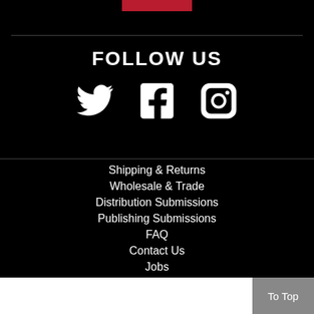[Figure (illustration): Red decorative bar at top center]
FOLLOW US
[Figure (illustration): Social media icons: Twitter bird, Facebook f, Instagram camera]
Shipping & Returns
Wholesale & Trade
Distribution Submissions
Publishing Submissions
FAQ
Contact Us
Jobs
Advanced Search
To Top